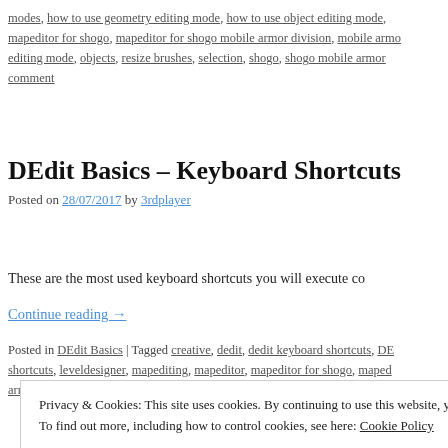modes, how to use geometry editing mode, how to use object editing mode, mapeditor for shogo, mapeditor for shogo mobile armor division, mobile armor editing mode, objects, resize brushes, selection, shogo, shogo mobile armor comment
DEdit Basics – Keyboard Shortcuts
Posted on 28/07/2017 by 3rdplayer
These are the most used keyboard shortcuts you will execute co
Continue reading →
Posted in DEdit Basics | Tagged creative, dedit, dedit keyboard shortcuts, DE shortcuts, leveldesigner, mapediting, mapeditor, mapeditor for shogo, maped armor division, Monolith Productions, shogo, shogo mobile armor division, To
Privacy & Cookies: This site uses cookies. By continuing to use this website, you agree to their use.
To find out more, including how to control cookies, see here: Cookie Policy
Close and accept